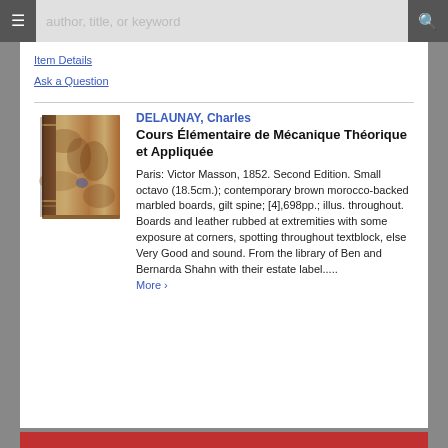author, title, or keyword
Item Details
Ask a Question
[Figure (photo): Small antique book with brown morocco-backed marbled boards and gilt spine]
DELAUNAY, Charles
Cours Élémentaire de Mécanique Théorique et Appliquée
Paris: Victor Masson, 1852. Second Edition. Small octavo (18.5cm.); contemporary brown morocco-backed marbled boards, gilt spine; [4],698pp.; illus. throughout. Boards and leather rubbed at extremities with some exposure at corners, spotting throughout textblock, else Very Good and sound. From the library of Ben and Bernarda Shahn with their estate label..... More ›